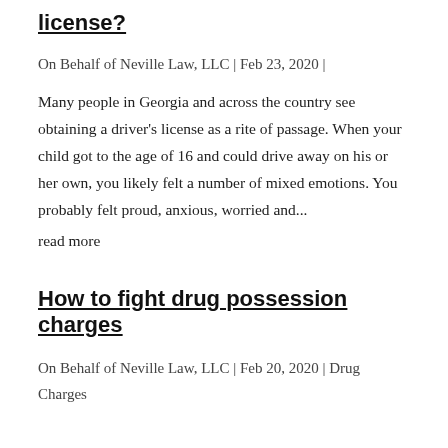license?
On Behalf of Neville Law, LLC | Feb 23, 2020 |
Many people in Georgia and across the country see obtaining a driver's license as a rite of passage. When your child got to the age of 16 and could drive away on his or her own, you likely felt a number of mixed emotions. You probably felt proud, anxious, worried and...
read more
How to fight drug possession charges
On Behalf of Neville Law, LLC | Feb 20, 2020 | Drug Charges